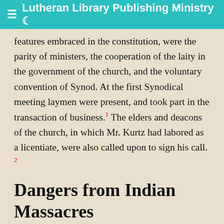≡ Lutheran Library Publishing Ministry 🌙
features embraced in the constitution, were the parity of ministers, the cooperation of the laity in the government of the church, and the voluntary convention of Synod. At the first Synodical meeting laymen were present, and took part in the transaction of business.¹ The elders and deacons of the church, in which Mr. Kurtz had labored as a licentiate, were also called upon to sign his call. ²
Dangers from Indian Massacres
The subject of our sketch, the same year in which he was ordained, returned to Tulpehocken, in obedience to the repeatedly expressed wishes of the congregations, to whom he had previously ministered. He remained among them for twenty-two years, doing the work of his Master, and gathering in many trophies of redeeming grace. His